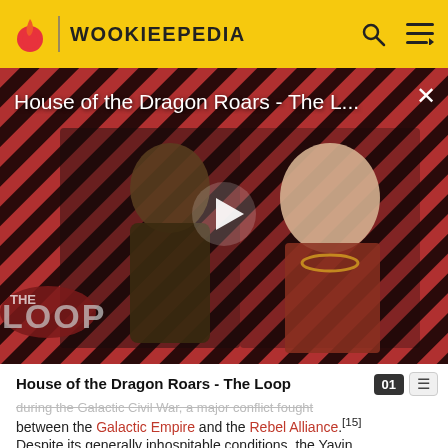WOOKIEEPEDIA
[Figure (screenshot): Video player thumbnail for 'House of the Dragon Roars - The L...' showing two figures against a red and black diagonal stripe background with 'THE LOOP' logo overlay and a play button in center]
House of the Dragon Roars - The Loop
during the Galactic Civil War, a major conflict fought between the Galactic Empire and the Rebel Alliance.[15]
Despite its generally inhospitable conditions, the Yavin